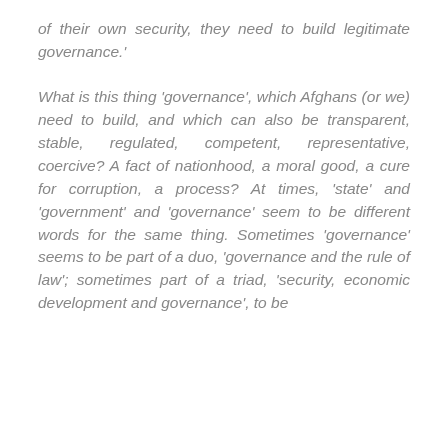of their own security, they need to build legitimate governance.'
What is this thing 'governance', which Afghans (or we) need to build, and which can also be transparent, stable, regulated, competent, representative, coercive? A fact of nationhood, a moral good, a cure for corruption, a process? At times, 'state' and 'government' and 'governance' seem to be different words for the same thing. Sometimes 'governance' seems to be part of a duo, 'governance and the rule of law'; sometimes part of a triad, 'security, economic development and governance', to be